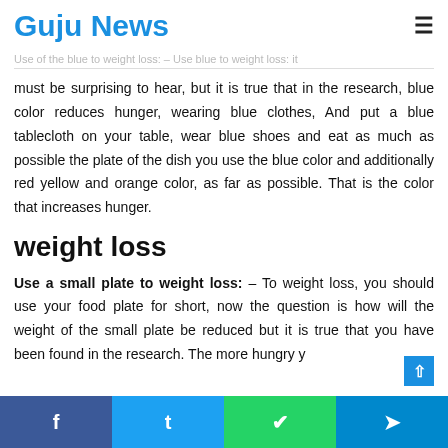Guju News
Use of the blue to weight loss: – Use blue to weight loss: it must be surprising to hear, but it is true that in the research, blue color reduces hunger, wearing blue clothes, And put a blue tablecloth on your table, wear blue shoes and eat as much as possible the plate of the dish you use the blue color and additionally red yellow and orange color, as far as possible. That is the color that increases hunger.
weight loss
Use a small plate to weight loss: – To weight loss, you should use your food plate for short, now the question is how will the weight of the small plate be reduced but it is true that you have been found in the research. The more hungry y
f  t  (whatsapp)  (telegram)